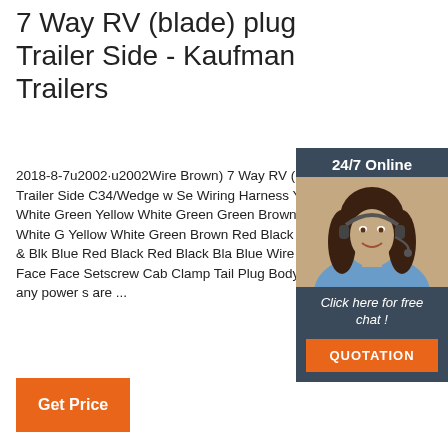7 Way RV (blade) plug Trailer Side - Kaufman Trailers
2018-8-7u2002·u2002Wire Brown) 7 Way RV (blade) plug Trailer Side C34/Wedge w Se Wiring Harness Yellow White Green Yellow White Green Green Brown Yellow White G Yellow White Green Brown Red Black Red w Blu & Blk Blue Red Black Red Black Bla Blue Wire Black Face Face Setscrew Cab Clamp Tail Plug Body •Ensure any power s are ...
[Figure (photo): Customer service representative, a woman wearing a headset, smiling, with a '24/7 Online' header above and 'Click here for free chat!' text below, plus an orange QUOTATION button at the bottom.]